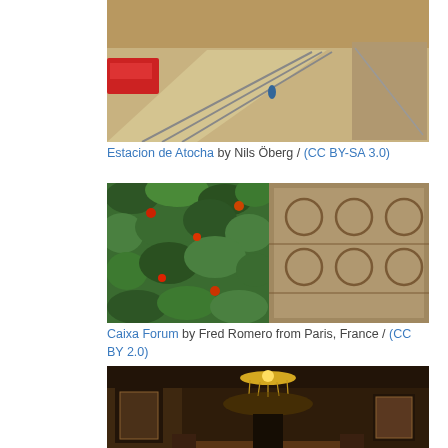[Figure (photo): Interior of Estacion de Atocha train station showing platforms and escalators]
Estacion de Atocha by Nils Öberg / (CC BY-SA 3.0)
[Figure (photo): Caixa Forum building exterior with green living wall and ornate facade]
Caixa Forum by Fred Romero from Paris, France / (CC BY 2.0)
[Figure (photo): Interior of Museo Cerralbo showing ornate room with chandelier and antique furnishings]
Museo Cerralbo by Museo Cerralbo / (Rights Reserved)
Things to do in